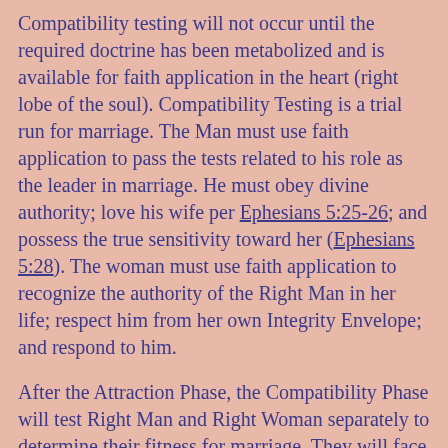Compatibility testing will not occur until the required doctrine has been metabolized and is available for faith application in the heart (right lobe of the soul). Compatibility Testing is a trial run for marriage. The Man must use faith application to pass the tests related to his role as the leader in marriage. He must obey divine authority; love his wife per Ephesians 5:25-26; and possess the true sensitivity toward her (Ephesians 5:28). The woman must use faith application to recognize the authority of the Right Man in her life; respect him from her own Integrity Envelope; and respond to him.
After the Attraction Phase, the Compatibility Phase will test Right Man and Right Woman separately to determine their fitness for marriage. They will face pressures in the relationship of all kinds. Only when the pressures are handled by the Problem Solving Devices will there be grace promotion. Application of doctrine to experience will produce experiential sanctification. For those who are willing to stick it out through the compatibility tests, the Lord will provide grace promotion up the isosceles triangle back to the God-man. Only doctrine it is at the end the...